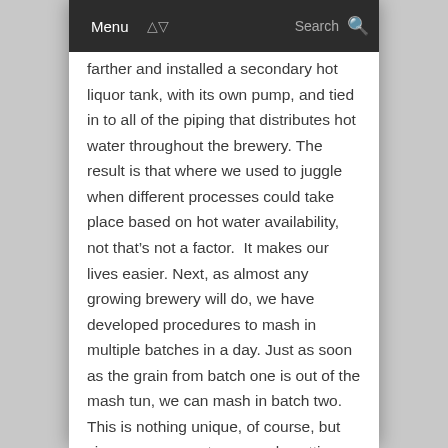Menu  Search
farther and installed a secondary hot liquor tank, with its own pump, and tied in to all of the piping that distributes hot water throughout the brewery. The result is that where we used to juggle when different processes could take place based on hot water availability, not that’s not a factor.  It makes our lives easier. Next, as almost any growing brewery will do, we have developed procedures to mash in multiple batches in a day. Just as soon as the grain from batch one is out of the mash tun, we can mash in batch two. This is nothing unique, of course, but since we are most commonly putting multiple brews into a given tank, it works very well for us. Outside of the brewhouse, we have, of course, increased the size of our tank farm and our glycol delivery capacity (larger glycol headers, better insulation, bigger chiller).